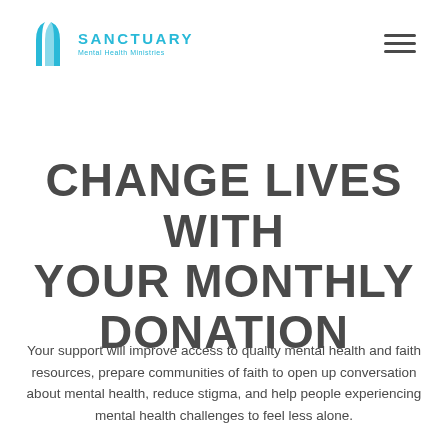[Figure (logo): Sanctuary Mental Health Ministries logo with cyan arch/building icon and text]
CHANGE LIVES WITH YOUR MONTHLY DONATION
Your support will improve access to quality mental health and faith resources, prepare communities of faith to open up conversation about mental health, reduce stigma, and help people experiencing mental health challenges to feel less alone.